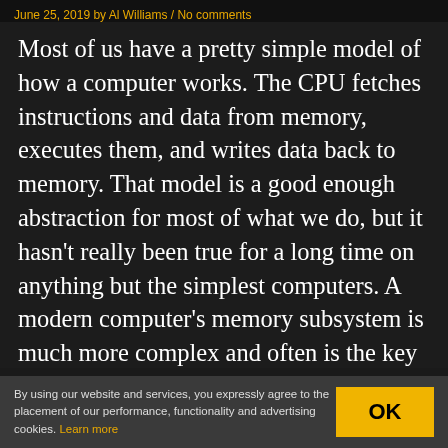June 25, 2019 by Al Williams / No comments
Most of us have a pretty simple model of how a computer works. The CPU fetches instructions and data from memory, executes them, and writes data back to memory. That model is a good enough abstraction for most of what we do, but it hasn't really been true for a long time on anything but the simplest computers. A modern computer's memory subsystem is much more complex and often is the key to unlocking real performance. [Pdziepak] has a great post about how to take
By using our website and services, you expressly agree to the placement of our performance, functionality and advertising cookies. Learn more